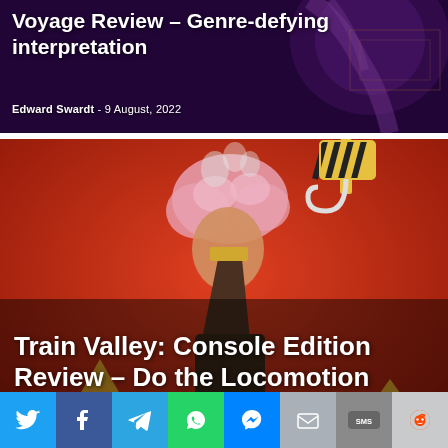Voyage Review – Genre-defying interpretation
Edward Swardt - 9 August, 2022
[Figure (photo): Game article thumbnail with dark purple/violet background and hand with glowing elements, for Voyage Review]
Train Valley: Console Edition Review – Do the Locomotion
Edward Swardt - 8 August, 2022
[Figure (photo): Game article thumbnail with red background showing stylized character holding a funnel/cone with steam, crane hook top right, for Train Valley Console Edition Review]
[Figure (other): Social sharing bar with icons: Twitter, Facebook, Telegram, WhatsApp, Messenger, Email, SMS, Reddit]